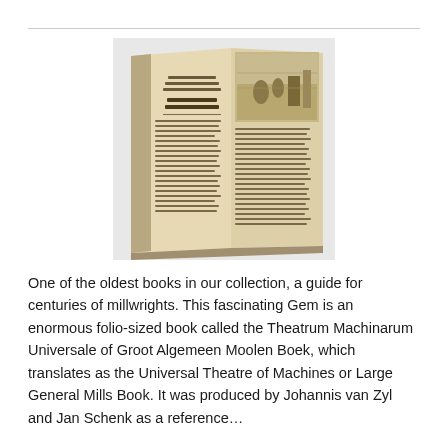[Figure (photo): A photograph of an open antique folio-sized book showing two pages: the left page has printed text in an old typeface with a title area, and the right page shows an engraved illustration at the top depicting figures and machinery, with handwritten or printed text below.]
One of the oldest books in our collection, a guide for centuries of millwrights. This fascinating Gem is an enormous folio-sized book called the Theatrum Machinarum Universale of Groot Algemeen Moolen Boek, which translates as the Universal Theatre of Machines or Large General Mills Book. It was produced by Johannis van Zyl and Jan Schenk as a reference…